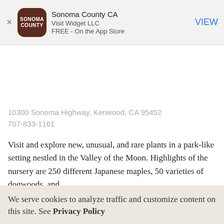[Figure (screenshot): App Store smart banner showing Sonoma County CA app by Visit Widget LLC, free on the App Store, with brown rounded square icon and VIEW button]
10300 Sonoma Highway, Kenwood, CA 95452
707-833-1161
Visit and explore new, unusual, and rare plants in a park-like setting nestled in the Valley of the Moon. Highlights of the nursery are 250 different Japanese maples, 50 varieties of dogwoods, and...
We serve cookies to analyze traffic and customize content on this site. See Privacy Policy